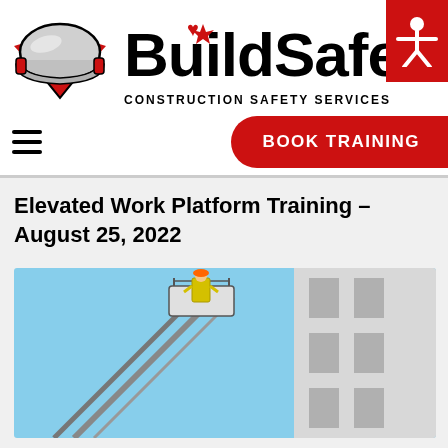[Figure (logo): BuildSafe Construction Safety Services logo with hard hat helmet graphic, maple leaf, and TM mark]
[Figure (illustration): Red square with white accessibility/person icon (arms outstretched)]
[Figure (other): Hamburger menu icon (three horizontal lines)]
[Figure (other): Red pill-shaped BOOK TRAINING button]
Elevated Work Platform Training – August 25, 2022
[Figure (photo): Construction worker in yellow hi-vis vest and hard hat operating an elevated work platform / aerial lift boom against a blue sky and building structure]